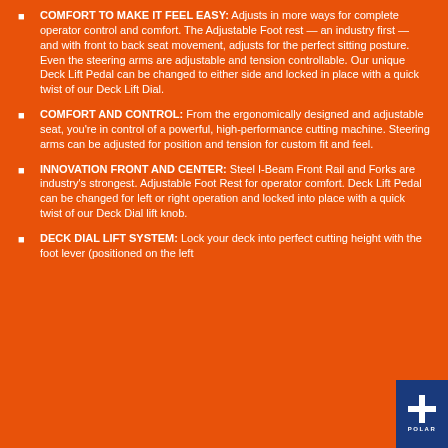COMFORT TO MAKE IT FEEL EASY: Adjusts in more ways for complete operator control and comfort. The Adjustable Foot rest — an industry first — and with front to back seat movement, adjusts for the perfect sitting posture. Even the steering arms are adjustable and tension controllable. Our unique Deck Lift Pedal can be changed to either side and locked in place with a quick twist of our Deck Lift Dial.
COMFORT AND CONTROL: From the ergonomically designed and adjustable seat, you're in control of a powerful, high-performance cutting machine. Steering arms can be adjusted for position and tension for custom fit and feel.
INNOVATION FRONT AND CENTER: Steel I-Beam Front Rail and Forks are industry's strongest. Adjustable Foot Rest for operator comfort. Deck Lift Pedal can be changed for left or right operation and locked into place with a quick twist of our Deck Dial lift knob.
DECK DIAL LIFT SYSTEM: Lock your deck into perfect cutting height with the foot lever (positioned on the left
[Figure (logo): Polar brand logo — white text 'POLAR' and a cross/star icon on dark blue background, bottom right corner]